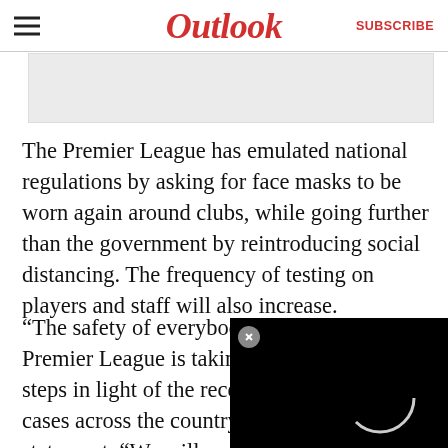Outlook | SUBSCRIBE
[Figure (photo): A partially visible image placeholder at the top of the article]
The Premier League has emulated national regulations by asking for face masks to be worn again around clubs, while going further than the government by reintroducing social distancing. The frequency of testing on players and staff will also increase.
“The safety of everybody is a priority and the Premier League is taking all precautionary steps in light of the recent rise in Covid-19 cases across the country,” the c... statement. “We will conti... with the government, loc... supporter groups, while b... future changes to nation...
[Figure (screenshot): A black video overlay panel in the bottom-right corner showing a loading spinner/circle icon]